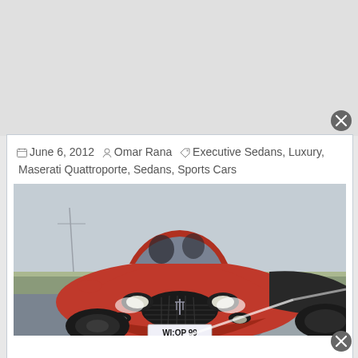June 6, 2012   Omar Rana   Executive Sedans, Luxury, Maserati Quattroporte, Sedans, Sports Cars
[Figure (photo): Front view of a red Maserati Quattroporte driving on a road with license plate WI:QP 99]